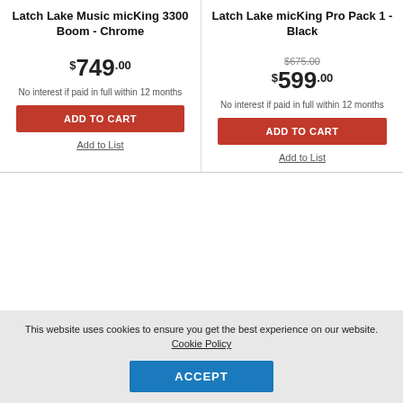Latch Lake Music micKing 3300 Boom - Chrome
Latch Lake micKing Pro Pack 1 - Black
$749.00
$675.00
$599.00
No interest if paid in full within 12 months
No interest if paid in full within 12 months
ADD TO CART
ADD TO CART
Add to List
Add to List
This website uses cookies to ensure you get the best experience on our website. Cookie Policy
ACCEPT